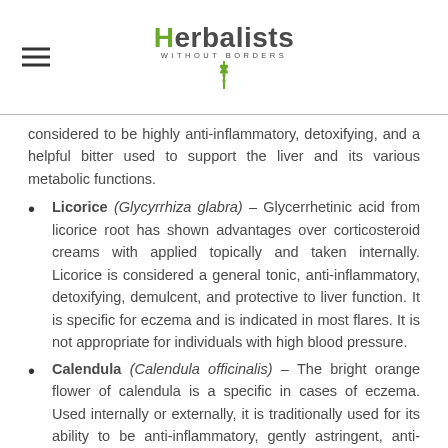Herbalists Without Borders
considered to be highly anti-inflammatory, detoxifying, and a helpful bitter used to support the liver and its various metabolic functions.
Licorice (Glycyrrhiza glabra) – Glycerrhetinic acid from licorice root has shown advantages over corticosteroid creams with applied topically and taken internally. Licorice is considered a general tonic, anti-inflammatory, detoxifying, demulcent, and protective to liver function. It is specific for eczema and is indicated in most flares. It is not appropriate for individuals with high blood pressure.
Calendula (Calendula officinalis) – The bright orange flower of calendula is a specific in cases of eczema. Used internally or externally, it is traditionally used for its ability to be anti-inflammatory, gently astringent, anti-candida, and restorative to soft tissue. Specifically in conditions of